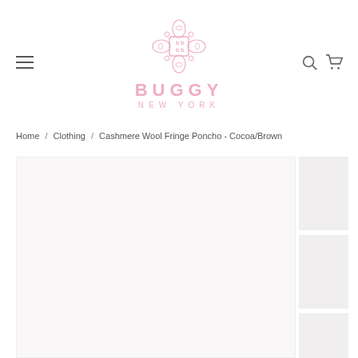[Figure (logo): Buggy New York logo with decorative pink floral/geometric symbol above the brand name in pink letters]
Home / Clothing / Cashmere Wool Fringe Poncho - Cocoa/Brown
[Figure (photo): Main product image placeholder - large light gray rectangle]
[Figure (photo): Thumbnail image 1 placeholder]
[Figure (photo): Thumbnail image 2 placeholder]
[Figure (photo): Thumbnail image 3 placeholder]